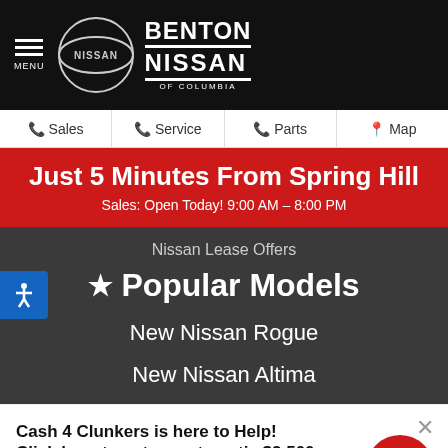MENU | NISSAN | BENTON NISSAN OF COLUMBIA
Sales | Service | Parts | Map
Just 5 Minutes From Spring Hill
Sales: Open Today! 9:00 AM – 8:00 PM
Nissan Lease Offers
★ Popular Models
New Nissan Rogue
New Nissan Altima
Cash 4 Clunkers is here to Help! Click here to get an automatic $2,500 for your clunker!
Complete the form within 6 days to redeem this offer on your next vehicle